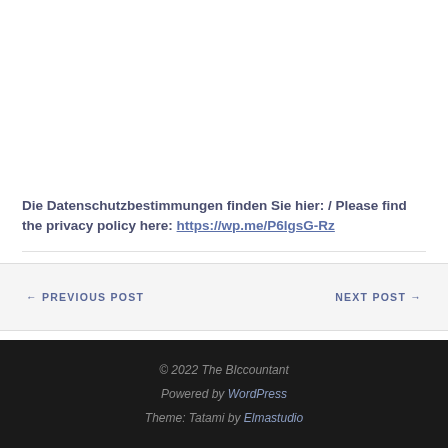Die Datenschutzbestimmungen finden Sie hier: / Please find the privacy policy here: https://wp.me/P6lgsG-Rz
← PREVIOUS POST   NEXT POST →
© 2022 The BIccountant
Powered by WordPress
Theme: Tatami by Elmastudio